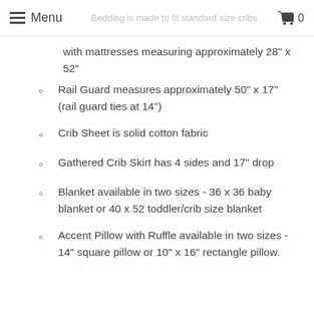Menu | Bedding is made to fit standard size cribs | 0
with mattresses measuring approximately 28" x 52"
Rail Guard measures approximately 50" x 17" (rail guard ties at 14")
Crib Sheet is solid cotton fabric
Gathered Crib Skirt has 4 sides and 17" drop
Blanket available in two sizes - 36 x 36 baby blanket or 40 x 52 toddler/crib size blanket
Accent Pillow with Ruffle available in two sizes - 14" square pillow or 10" x 16" rectangle pillow.